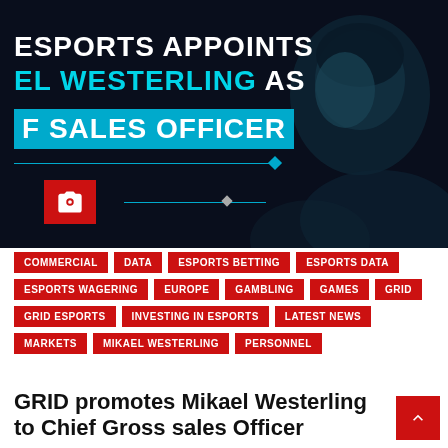[Figure (photo): Dark-themed promotional banner showing a man's face on the right side with teal/cyan tones. Text overlay reads 'ESPORTS APPOINTS EL WESTERLING AS F SALES OFFICER' with a cyan highlight box. Camera icon in red box at bottom left. Horizontal lines with diamond shapes.]
COMMERCIAL
DATA
ESPORTS BETTING
ESPORTS DATA
ESPORTS WAGERING
EUROPE
GAMBLING
GAMES
GRID
GRID ESPORTS
INVESTING IN ESPORTS
LATEST NEWS
MARKETS
MIKAEL WESTERLING
PERSONNEL
GRID promotes Mikael Westerling to Chief Gross sales Officer